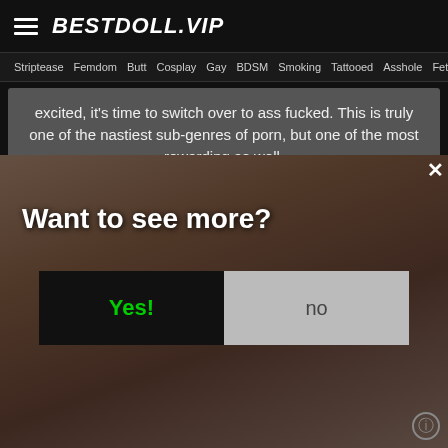BESTDOLL.VIP
Striptease Femdom Butt Cosplay Gay BDSM Smoking Tattooed Asshole Fetish
excited, it's time to switch over to ass fucked. This is truly one of the nastiest sub-genres of porn, but one of the most rewarding as well.
[Figure (photo): Modal dialog overlay on adult website with 'Want to see more?' prompt, Yes and No buttons, close X button, and background photo]
Want to see more?
Yes!
no